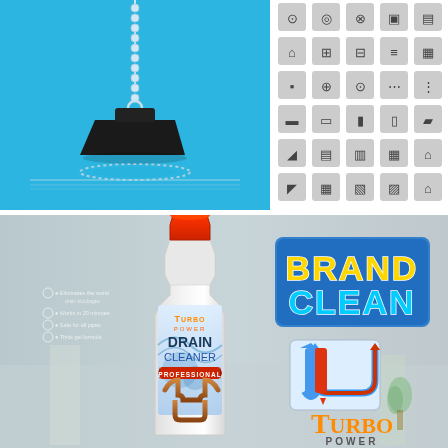[Figure (illustration): Blue background illustration of a bathtub stopper/plug hanging on a ball chain, with the rubber stopper at the bottom over a drain hole]
[Figure (illustration): Grid of 25 dark gray flat icons related to home appliances and household items on white rounded-rectangle backgrounds]
[Figure (illustration): Advertisement for Turbo Power Drain Cleaner showing a white cleaning product bottle with red cap and label reading TURBO POWER DRAIN CLEANER PROFESSIONAL, with BRAND CLEAN logo and pipe icon on the right]